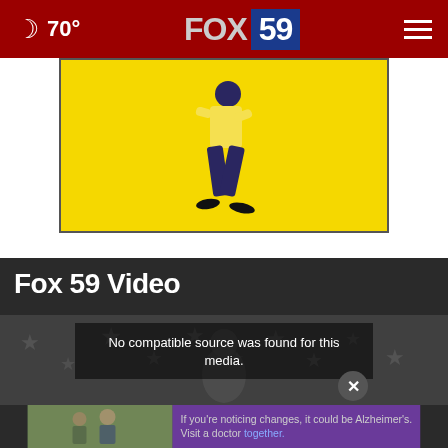70° FOX 59
[Figure (illustration): Yellow background with animated walking figure illustration — man in yellow shirt and navy trousers walking]
Fox 59 Video
[Figure (screenshot): Video player area with dark background showing stars/flag imagery and error message: No compatible source was found for this media. Close (×) button visible.]
No compatible source was found for this media.
[Figure (photo): Advertisement banner: two men outdoors on left, purple background on right with text: If you're noticing changes, it could be Alzheimer's. Visit a doctor together.]